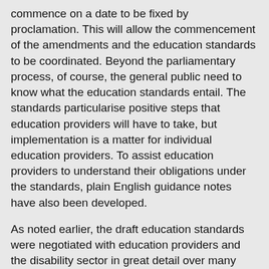commence on a date to be fixed by proclamation. This will allow the commencement of the amendments and the education standards to be coordinated. Beyond the parliamentary process, of course, the general public need to know what the education standards entail. The standards particularise positive steps that education providers will have to take, but implementation is a matter for individual education providers. To assist education providers to understand their obligations under the standards, plain English guidance notes have also been developed.
As noted earlier, the draft education standards were negotiated with education providers and the disability sector in great detail over many years. Their development has been a collaborative